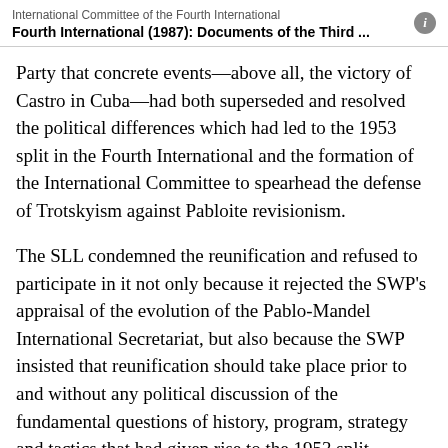International Committee of the Fourth International
Fourth International (1987): Documents of the Third ...
Party that concrete events—above all, the victory of Castro in Cuba—had both superseded and resolved the political differences which had led to the 1953 split in the Fourth International and the formation of the International Committee to spearhead the defense of Trotskyism against Pabloite revisionism.
The SLL condemned the reunification and refused to participate in it not only because it rejected the SWP's appraisal of the evolution of the Pablo-Mandel International Secretariat, but also because the SWP insisted that reunification should take place prior to and without any political discussion of the fundamental questions of history, program, strategy and tactics that had given rise to the 1953 split.
The Fourth...